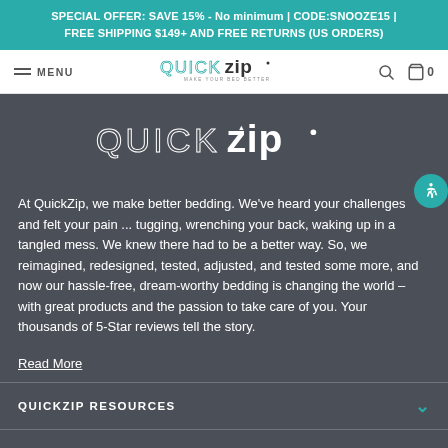SPECIAL OFFER: SAVE 15% - No minimum | CODE:SNOOZE15 | FREE SHIPPING $149+ AND FREE RETURNS (US ORDERS)
[Figure (logo): QuickZip navigation logo with tagline MAKE YOUR BED BETTER]
[Figure (logo): QuickZip large white logo on dark background]
At QuickZip, we make better bedding. We've heard your challenges and felt your pain ... tugging, wrenching your back, waking up in a tangled mess. We knew there had to be a better way. So, we reimagined, redesigned, tested, adjusted, and tested some more, and now our hassle-free, dream-worthy bedding is changing the world – with great products and the passion to take care of you. Your thousands of 5-Star reviews tell the story.
Read More
QUICKZIP RESOURCES
SHOP QUICKZIP